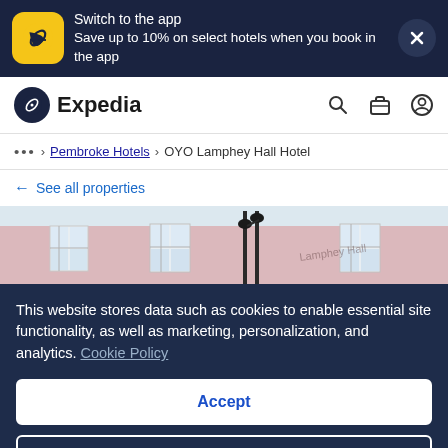[Figure (screenshot): Expedia app banner with yellow airplane icon, text 'Switch to the app / Save up to 10% on select hotels when you book in the app', and a close X button on dark navy background]
[Figure (logo): Expedia logo with circular black icon containing airplane symbol, followed by text 'Expedia', and search, briefcase, and profile icons on the right]
... > Pembroke Hotels > OYO Lamphey Hall Hotel
← See all properties
[Figure (photo): Partial view of OYO Lamphey Hall Hotel building exterior with pink/salmon walls, white-framed windows, and ornate lamp posts in foreground]
This website stores data such as cookies to enable essential site functionality, as well as marketing, personalization, and analytics. Cookie Policy
Accept
Deny